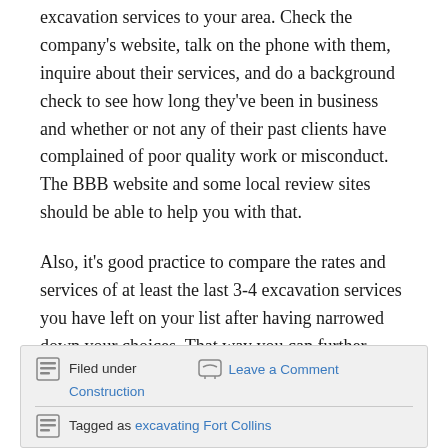excavation services to your area. Check the company's website, talk on the phone with them, inquire about their services, and do a background check to see how long they've been in business and whether or not any of their past clients have complained of poor quality work or misconduct. The BBB website and some local review sites should be able to help you with that.
Also, it's good practice to compare the rates and services of at least the last 3-4 excavation services you have left on your list after having narrowed down your choices. That way you can further narrow it down to the very best ones.
Filed under Construction | Leave a Comment | Tagged as excavating Fort Collins